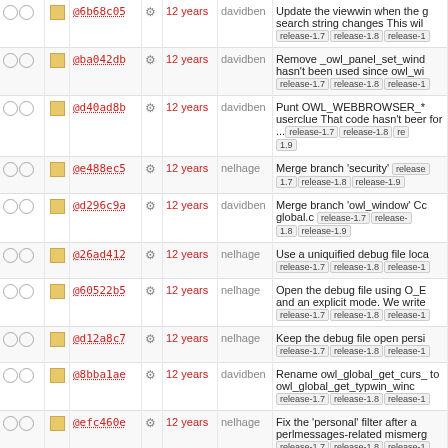|  |  |  |  | age | author | message |
| --- | --- | --- | --- | --- | --- | --- |
| ○○ | □ | @6b68c05 | ⚙ | 12 years | davidben | Update the viewwin when the g search string changes This wil release-1.7 release-1.8 release-1 |
| ○○ | □ | @ba042db | ⚙ | 12 years | davidben | Remove _owl_panel_set_wind hasn't been used since owl_wi release-1.7 release-1.8 release-1 |
| ○○ | □ | @d40ad8b | ⚙ | 12 years | davidben | Punt OWL_WEBBROWSER_* userclue That code hasn't beer for ... release-1.7 release-1.8 re 1.9 |
| ○○ | □ | @e488ec5 | ⚙ | 12 years | nelhage | Merge branch 'security' release 1.7 release-1.8 release-1.9 |
| ○○ | □ | @d296c9a | ⚙ | 12 years | davidben | Merge branch 'owl_window' C global.c release-1.7 release-1.8 release-1.9 |
| ○○ | □ | @26ad412 | ⚙ | 12 years | nelhage | Use a uniquified debug file loc release-1.7 release-1.8 release-1 |
| ○○ | □ | @60522b5 | ⚙ | 12 years | nelhage | Open the debug file using O_E and an explicit mode. We write release-1.7 release-1.8 release-1 |
| ○○ | □ | @d12a8c7 | ⚙ | 12 years | nelhage | Keep the debug file open persi release-1.7 release-1.8 release-1 |
| ○○ | □ | @8bba1ae | ⚙ | 12 years | davidben | Rename owl_global_get_curs_ to owl_global_get_typwin_winc release-1.7 release-1.8 release-1 |
| ○○ | □ | @efc460e | ⚙ | 12 years | nelhage | Fix the 'personal' filter after a perlmessages-related mismerg release-1.7 release-1.8 release-1 |
| ○○ | □ | @0be3efd | ⚙ | 12 years | davidben | Move g_type_init into owl_glob Ensures that the tester and ... 1.7 release-1.8 release-1.9 |